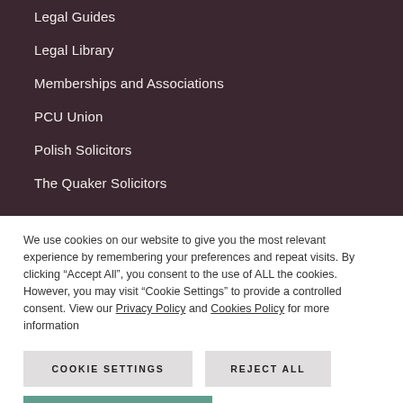Legal Guides
Legal Library
Memberships and Associations
PCU Union
Polish Solicitors
The Quaker Solicitors
We use cookies on our website to give you the most relevant experience by remembering your preferences and repeat visits. By clicking “Accept All”, you consent to the use of ALL the cookies. However, you may visit “Cookie Settings” to provide a controlled consent. View our Privacy Policy and Cookies Policy for more information